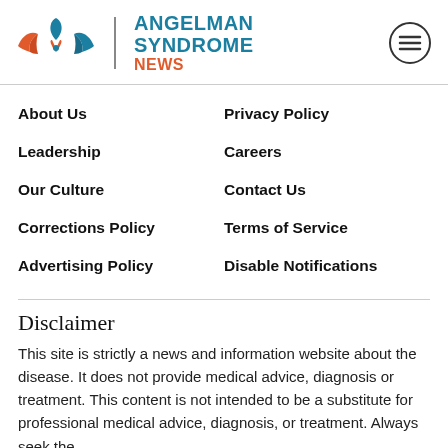[Figure (logo): Angelman Syndrome News logo with teal and red wing/bird icon and brand name text]
About Us
Privacy Policy
Leadership
Careers
Our Culture
Contact Us
Corrections Policy
Terms of Service
Advertising Policy
Disable Notifications
Disclaimer
This site is strictly a news and information website about the disease. It does not provide medical advice, diagnosis or treatment. This content is not intended to be a substitute for professional medical advice, diagnosis, or treatment. Always seek the